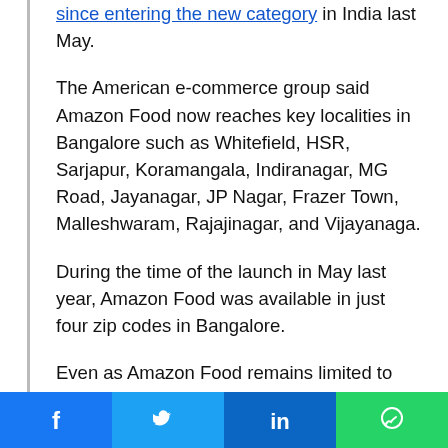since entering the new category in India last May.
The American e-commerce group said Amazon Food now reaches key localities in Bangalore such as Whitefield, HSR, Sarjapur, Koramangala, Indiranagar, MG Road, Jayanagar, JP Nagar, Frazer Town, Malleshwaram, Rajajinagar, and Vijayanaga.
During the time of the launch in May last year, Amazon Food was available in just four zip codes in Bangalore.
Even as Amazon Food remains limited to one key market in India, the company is aggressively trying to undercut competition — heavily funded startups
We use cookies on our website to give you the most relevant experience by remembering your preferences and repeat visits. By clicking "Accept", you consent to the use of all cookies.
Cookie settings   ACCEPT
[Figure (other): Social sharing bar with Facebook, Twitter, LinkedIn, and WhatsApp icons]